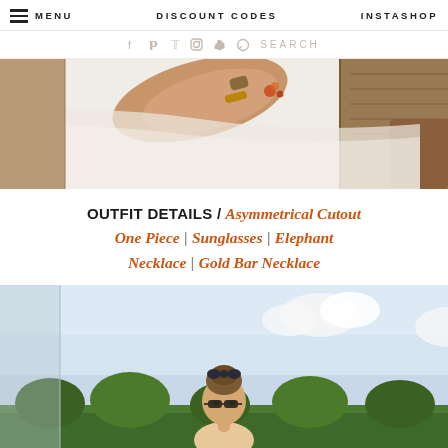MENU | DISCOUNT CODES | INSTASHOP
[Figure (photo): Close-up of a person's arm/hand resting on a lounge chair with white towel, outdoor resort setting]
OUTFIT DETAILS / Asymmetrical Cutout One Piece | Sunglasses | Elephant Necklace | Gold Bar Necklace
[Figure (photo): Woman outdoors with hair up in a bun with bow/headband accessory, standing against a light blue sky with clouds and greenery below]